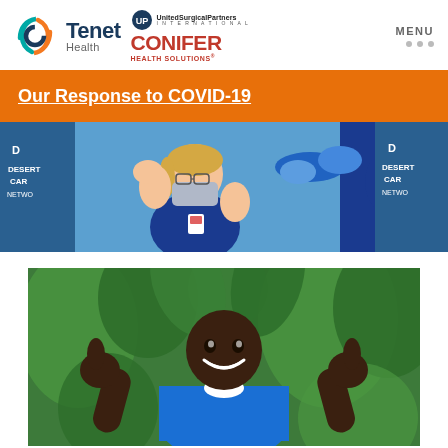[Figure (logo): Tenet Health logo with circular swoosh icon in teal, blue, and orange]
[Figure (logo): United Surgical Partners International (USPI) logo and Conifer Health Solutions logo]
MENU
Our Response to COVID-19
[Figure (photo): Healthcare workers at Desert Care Network flexing arms after receiving COVID-19 vaccine]
[Figure (photo): Smiling male healthcare worker in blue scrubs giving two thumbs up outdoors with green plants in background]